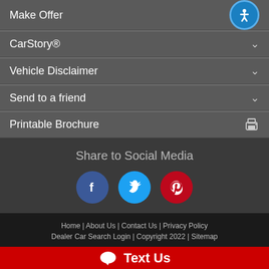Make Offer
CarStory®
Vehicle Disclaimer
Send to a friend
Printable Brochure
Share to Social Media
[Figure (illustration): Three social media icon circles: Facebook (blue), Twitter (light blue), Pinterest (dark red)]
Home | About Us | Contact Us | Privacy Policy | Dealer Car Search Login | Copyright 2022 | Sitemap
Text Us